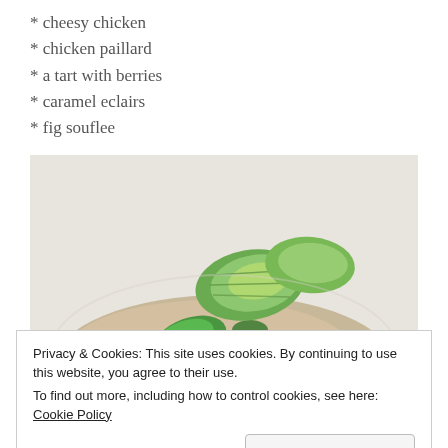* cheesy chicken
* chicken paillard
* a tart with berries
* caramel eclairs
* fig souflee
[Figure (photo): A plate of food featuring sliced avocado and green vegetables on top of shredded chicken or crab salad, served on a white plate.]
Privacy & Cookies: This site uses cookies. By continuing to use this website, you agree to their use.
To find out more, including how to control cookies, see here: Cookie Policy
Close and accept